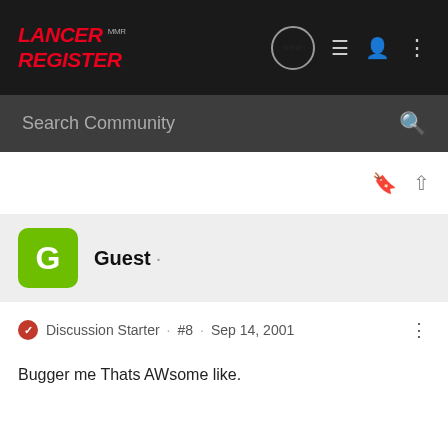[Figure (logo): Lancer Register MMR logo in red italic text on dark background]
Search Community
Guest ·
Discussion Starter · #8 · Sep 14, 2001
Bugger me Thats AWsome like.